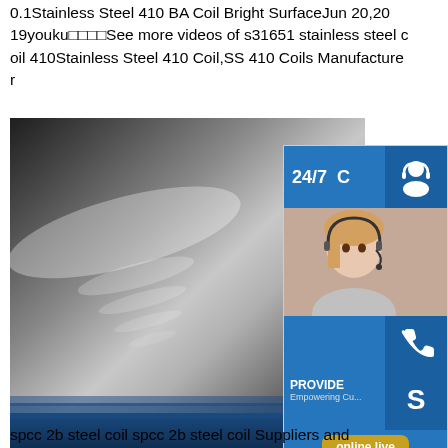0.1Stainless Steel 410 BA Coil Bright SurfaceJun 20,2019youku□□□□See more videos of s31651 stainless steel coil 410Stainless Steel 410 Coil,SS 410 Coils Manufacturer
[Figure (photo): Photo of stainless steel sheet/coil with bright reflective surface, stacked sheets visible at bottom edge with blue tint]
[Figure (infographic): Customer service widget showing 24/7 support with headset icon, phone icon, Skype icon, and online live chat button. Includes photo of woman with headset and text PROVIDE Empowering Customers]
spcc 2b steel coil spcc 2b steel coil Suppliers and